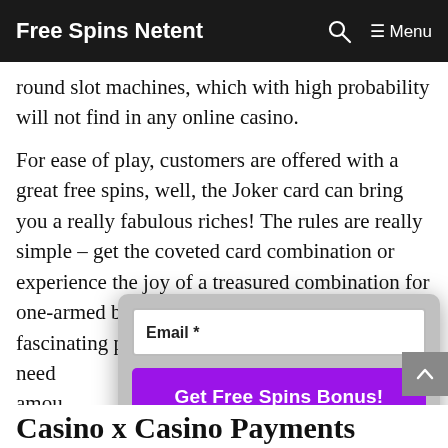Free Spins Netent  Menu
round slot machines, which with high probability will not find in any online casino.
For ease of play, customers are offered with a great free spins, well, the Joker card can bring you a really fabulous riches! The rules are really simple – get the coveted card combination or experience the joy of a treasured combination for one-armed bandit! An interesting chance for a fascinating pastime is gambling. There is no need ... you are in ... e amount ... y at times ...
[Figure (screenshot): A popup modal overlay with an Email * input field and a purple 'Get Free Spins Bonus!' button]
Casino x Casino Payments